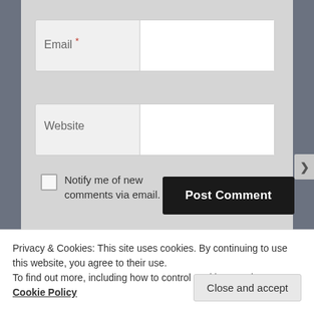Email *
Website
Notify me of new comments via email.
Post Comment
Notify me of new posts via email.
Privacy & Cookies: This site uses cookies. By continuing to use this website, you agree to their use.
To find out more, including how to control cookies, see here: Cookie Policy
Close and accept